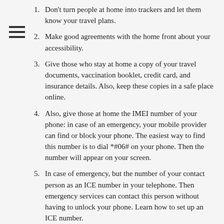1. Don't turn people at home into trackers and let them know your travel plans.
2. Make good agreements with the home front about your accessibility.
3. Give those who stay at home a copy of your travel documents, vaccination booklet, credit card, and insurance details. Also, keep these copies in a safe place online.
4. Also, give those at home the IMEI number of your phone: in case of an emergency, your mobile provider can find or block your phone. The easiest way to find this number is to dial *#06# on your phone. Then the number will appear on your screen.
5. In case of emergency, but the number of your contact person as an ICE number in your telephone. Then emergency services can contact this person without having to unlock your phone. Learn how to set up an ICE number.